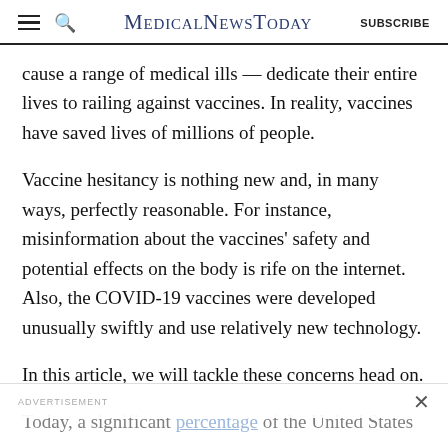MedicalNewsToday  SUBSCRIBE
cause a range of medical ills — dedicate their entire lives to railing against vaccines. In reality, vaccines have saved lives of millions of people.
Vaccine hesitancy is nothing new and, in many ways, perfectly reasonable. For instance, misinformation about the vaccines' safety and potential effects on the body is rife on the internet. Also, the COVID-19 vaccines were developed unusually swiftly and use relatively new technology.
In this article, we will tackle these concerns head on.
Today, a significant percentage of the United States
ADVERTISEMENT